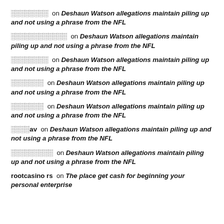░░░░░░░░ on Deshaun Watson allegations maintain piling up and not using a phrase from the NFL
░░░░░░░░░░░░ on Deshaun Watson allegations maintain piling up and not using a phrase from the NFL
░░░░░░░░ on Deshaun Watson allegations maintain piling up and not using a phrase from the NFL
░░░░░░░ on Deshaun Watson allegations maintain piling up and not using a phrase from the NFL
░░░░░░░ on Deshaun Watson allegations maintain piling up and not using a phrase from the NFL
░░░av on Deshaun Watson allegations maintain piling up and not using a phrase from the NFL
░░░░░░░░░ on Deshaun Watson allegations maintain piling up and not using a phrase from the NFL
rootcasino rs on The place get cash for beginning your personal enterprise